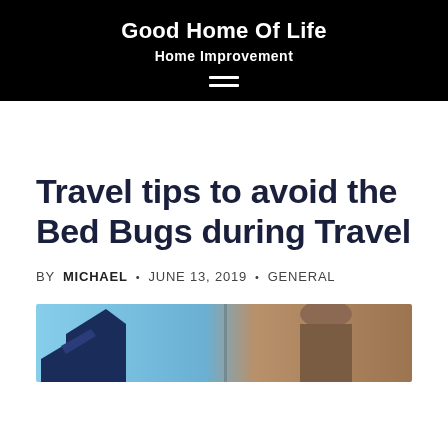Good Home Of Life
Home Improvement
Travel tips to avoid the Bed Bugs during Travel
BY MICHAEL • JUNE 13, 2019 • GENERAL
[Figure (photo): Partial photograph showing an airplane tail and a person's profile, visible at the bottom of the page]